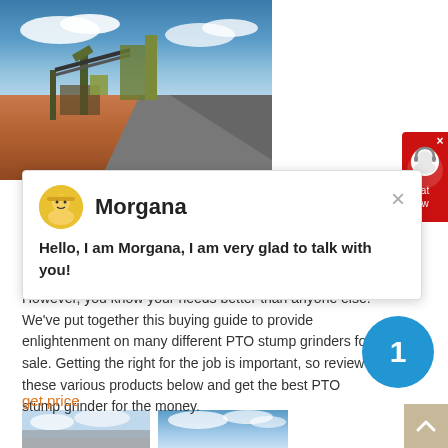[Figure (photo): Mining/quarry site with equipment, conveyor belts, aggregate piles, and blue sky with clouds]
[Figure (screenshot): Chat popup with avatar of Morgana (customer support agent) and message: Hello, I am Morgana, I am very glad to talk with you!]
However, you know your needs better than anyone else. We've put together this buying guide to provide enlightenment on many different PTO stump grinders for sale. Getting the right for the job is important, so review these various products below and get the best PTO stump grinder for the money.
get price
[Figure (photo): Two partial images at the bottom of the page showing sky and outdoor scenes]